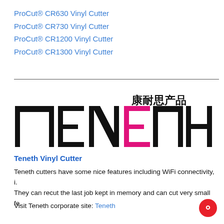ProCut® CR630 Vinyl Cutter
ProCut® CR730 Vinyl Cutter
ProCut® CR1200 Vinyl Cutter
ProCut® CR1300 Vinyl Cutter
[Figure (logo): Teneth brand logo with Chinese characters 康耐思产品 above. Large bold black letters T-E-N-E-T-H with the E in the middle rendered in magenta/pink.]
Teneth Vinyl Cutter
Teneth cutters have some nice features including WiFi connectivity, i. They can recut the last job kept in memory and can cut very small fe.
Visit Teneth corporate site: Teneth